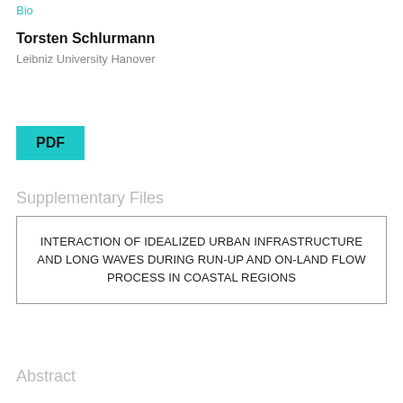Bio
Torsten Schlurmann
Leibniz University Hanover
[Figure (other): PDF button - teal/cyan colored rectangular button with text 'PDF']
Supplementary Files
INTERACTION OF IDEALIZED URBAN INFRASTRUCTURE AND LONG WAVES DURING RUN-UP AND ON-LAND FLOW PROCESS IN COASTAL REGIONS
Abstract